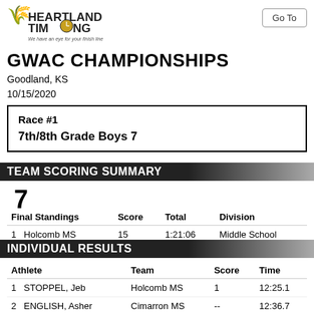[Figure (logo): Heartland Timing logo with wheat graphic and tagline 'We have an eye for your finish line']
Go To
GWAC CHAMPIONSHIPS
Goodland, KS
10/15/2020
Race #1
7th/8th Grade Boys 7
TEAM SCORING SUMMARY
7
| Final Standings | Score | Total | Division |
| --- | --- | --- | --- |
| 1  Holcomb MS | 15 | 1:21:06 | Middle School |
INDIVIDUAL RESULTS
| Athlete | Team | Score | Time |
| --- | --- | --- | --- |
| 1  STOPPEL, Jeb | Holcomb MS | 1 | 12:25.1 |
| 2  ENGLISH, Asher | Cimarron MS | -- | 12:36.7 |